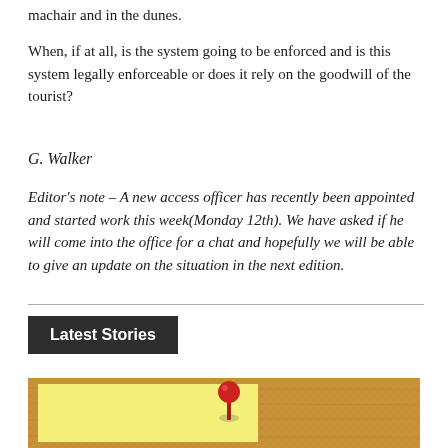machair and in the dunes.
When, if at all, is the system going to be enforced and is this system legally enforceable or does it rely on the goodwill of the tourist?
G. Walker
Editor's note – A new access officer has recently been appointed and started work this week(Monday 12th). We have asked if he will come into the office for a chat and hopefully we will be able to give an update on the situation in the next edition.
Latest Stories
[Figure (photo): Corkboard with a yellow sticky note and a red pushpin]